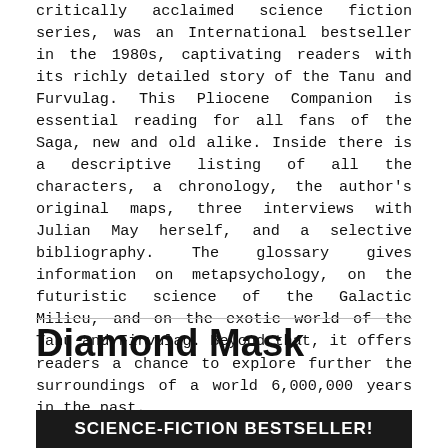critically acclaimed science fiction series, was an International bestseller in the 1980s, captivating readers with its richly detailed story of the Tanu and Furvulag. This Pliocene Companion is essential reading for all fans of the Saga, new and old alike. Inside there is a descriptive listing of all the characters, a chronology, the author's original maps, three interviews with Julian May herself, and a selective bibliography. The glossary gives information on metapsychology, on the futuristic science of the Galactic Milieu, and on the exotic world of the Tanu and Firvulag. Beyond that, it offers readers a chance to explore further the surroundings of a world 6,000,000 years in the past.
Diamond Mask
[Figure (other): Dark banner with white bold text reading: SCIENCE-FICTION BESTSELLER!]